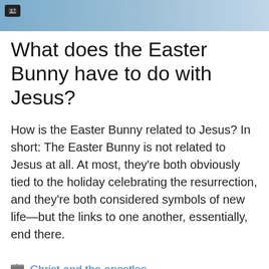[Figure (photo): Partial photo of Easter-related imagery with image icon overlay in top-left corner]
What does the Easter Bunny have to do with Jesus?
How is the Easter Bunny related to Jesus? In short: The Easter Bunny is not related to Jesus at all. At most, they’re both obviously tied to the holiday celebrating the resurrection, and they’re both considered symbols of new life—but the links to one another, essentially, end there.
Christ and the apostles
Search